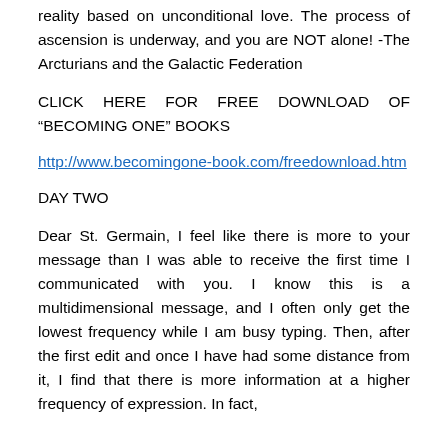reality based on unconditional love. The process of ascension is underway, and you are NOT alone! -The Arcturians and the Galactic Federation
CLICK HERE FOR FREE DOWNLOAD OF “BECOMING ONE” BOOKS
http://www.becomingone-book.com/freedownload.htm
DAY TWO
Dear St. Germain, I feel like there is more to your message than I was able to receive the first time I communicated with you. I know this is a multidimensional message, and I often only get the lowest frequency while I am busy typing. Then, after the first edit and once I have had some distance from it, I find that there is more information at a higher frequency of expression. In fact,